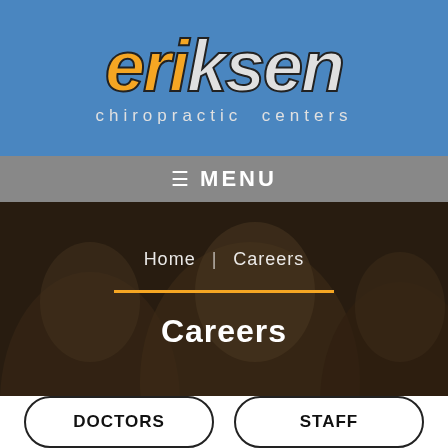[Figure (logo): Eriksen Chiropractic Centers logo - orange and gray italic text on blue background with subtitle 'chiropractic centers']
≡ MENU
[Figure (photo): Dark background photo of people smiling, used as hero banner overlay]
Home | Careers
Careers
DOCTORS
STAFF